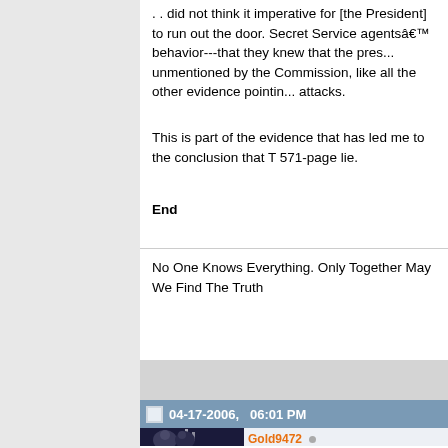. . did not think it imperative for [the President] to run out the door. Secret Service agentsâ€™ behavior---that they knew that the pres... unmentioned by the Commission, like all the other evidence pointin... attacks.
This is part of the evidence that has led me to the conclusion that T 571-page lie.
End
No One Knows Everything. Only Together May We Find The Truth
04-17-2006,   06:01 PM
[Figure (photo): Profile photo showing two men in suits, appearing to be political figures, with the Twin Towers in the background]
Gold9472 Tired...
bump